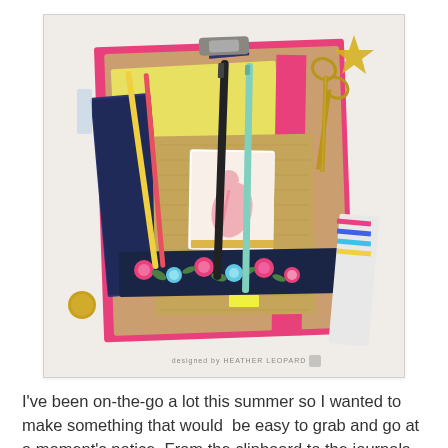[Figure (photo): Overhead photo of a colorful craft/stationery clipboard setup with pens, pencils, journals, washi tape, scissors, and decorative elements including a floral band and flamingo card. Watermark reads 'HEATHER LEOPARD'.]
I've been on-the-go a lot this summer so I wanted to make something that would  be easy to grab and go at a moment's notice. From the clipboard to the journals to the essentials needed to make lists, take lots of notes, and document my family's adventures, this has everything I need bundled so